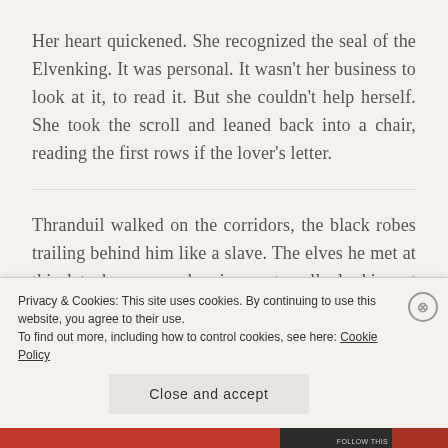Her heart quickened. She recognized the seal of the Elvenking. It was personal. It wasn't her business to look at it, to read it. But she couldn't help herself. She took the scroll and leaned back into a chair, reading the first rows if the lover's letter.
Thranduil walked on the corridors, the black robes trailing behind him like a slave. The elves he met at this late hour were bowing, not really looking at him.
Privacy & Cookies: This site uses cookies. By continuing to use this website, you agree to their use.
To find out more, including how to control cookies, see here: Cookie Policy
Close and accept